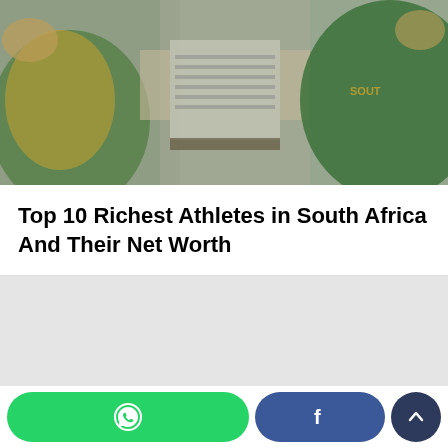[Figure (photo): Cricket players in green and yellow South Africa jerseys, with an umpire in striped shirt in the background. Photo is slightly blurred/desaturated.]
Top 10 Richest Athletes in South Africa And Their Net Worth
[Figure (other): Gray advertisement placeholder block]
WhatsApp share button, Facebook share button, scroll to top button